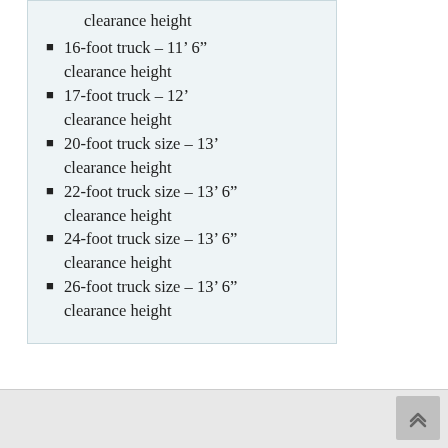clearance height
16-foot truck – 11’ 6” clearance height
17-foot truck – 12’ clearance height
20-foot truck size – 13’ clearance height
22-foot truck size – 13’ 6” clearance height
24-foot truck size – 13’ 6” clearance height
26-foot truck size – 13’ 6” clearance height